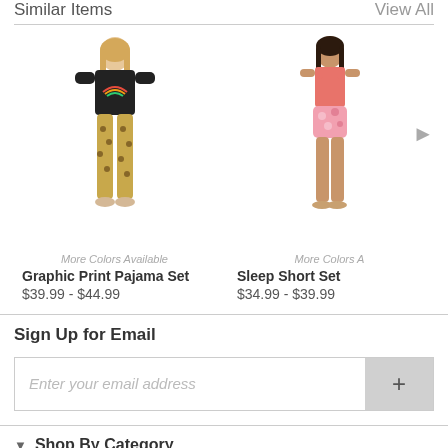Similar Items
View All
[Figure (photo): Woman wearing a black graphic rainbow print long-sleeve top with leopard print pants pajama set]
More Colors Available
Graphic Print Pajama Set
$39.99 - $44.99
[Figure (photo): Woman wearing a pink tank top and floral/tie-dye pink sleep shorts set]
More Colors A
Sleep Short Set
$34.99 - $39.99
Sign Up for Email
Enter your email address
Shop By Category